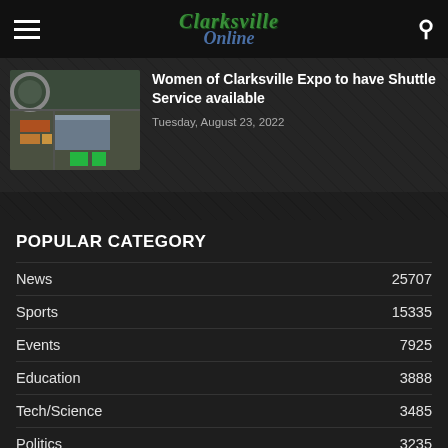Clarksville Online
[Figure (screenshot): Aerial view of Clarksville Expo venue with colored parking sections]
Women of Clarksville Expo to have Shuttle Service available
Tuesday, August 23, 2022
POPULAR CATEGORY
News  25707
Sports  15335
Events  7925
Education  3888
Tech/Science  3485
Politics  3235